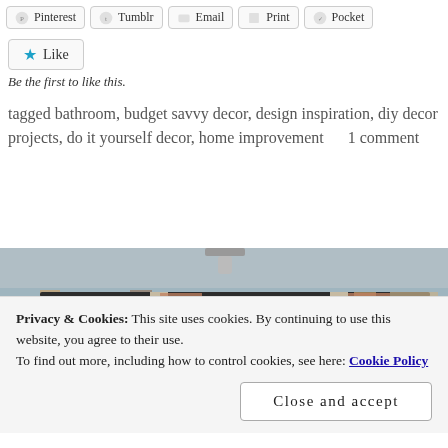[Figure (other): Social share buttons: Pinterest, Tumblr, Email, Print, Pocket]
[Figure (other): Like button with blue star icon]
Be the first to like this.
tagged bathroom, budget savvy decor, design inspiration, diy decor projects, do it yourself decor, home improvement    1 comment
[Figure (photo): Interior room photo showing curtains on a black curtain rod, window with natural light, light blue-grey walls]
Privacy & Cookies: This site uses cookies. By continuing to use this website, you agree to their use.
To find out more, including how to control cookies, see here: Cookie Policy
Close and accept